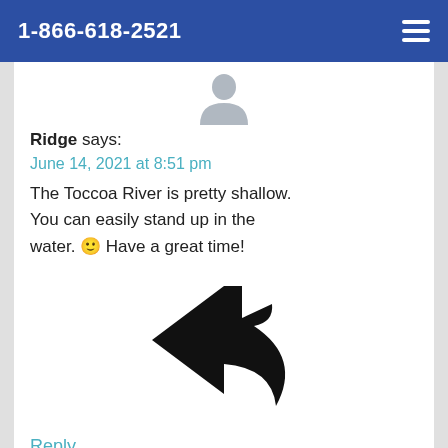1-866-618-2521
[Figure (illustration): Generic user avatar icon — grey silhouette of a person]
Ridge says:
June 14, 2021 at 8:51 pm
The Toccoa River is pretty shallow. You can easily stand up in the water. 🙂 Have a great time!
[Figure (illustration): Large black reply arrow icon pointing left with a curved tail]
Reply